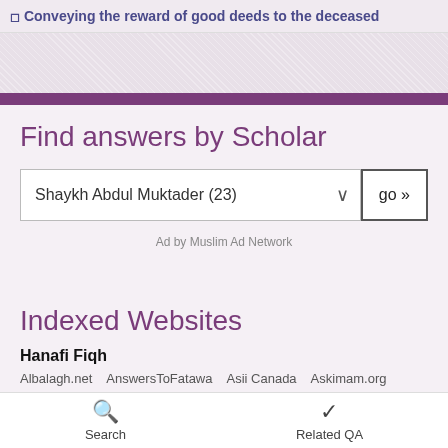◻ Conveying the reward of good deeds to the deceased
Find answers by Scholar
Shaykh Abdul Muktader (23)  go »
Ad by Muslim Ad Network
Indexed Websites
Hanafi Fiqh
Albalagh.net   AnswersToFatawa   Asii Canada   Askimam.org
Search   Related QA